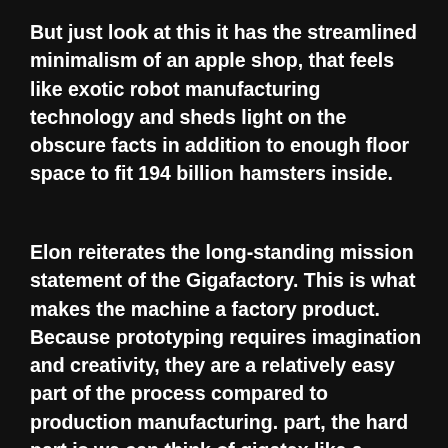But just look at this it has the streamlined minimalism of an apple shop, that feels like exotic robot manufacturing technology and sheds light on the obscure facts in addition to enough floor space to fit 194 billion hamsters inside.
Elon reiterates the long-standing mission statement of the Gigafactory. This is what makes the machine a factory product. Because prototyping requires imagination and creativity, they are a relatively easy part of the process compared to production manufacturing. part, the hard part is we can think of gigatex like a